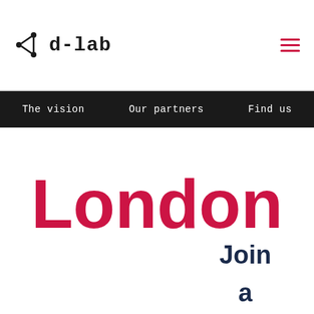d-lab
The vision   Our partners   Find us
London
Join a creative